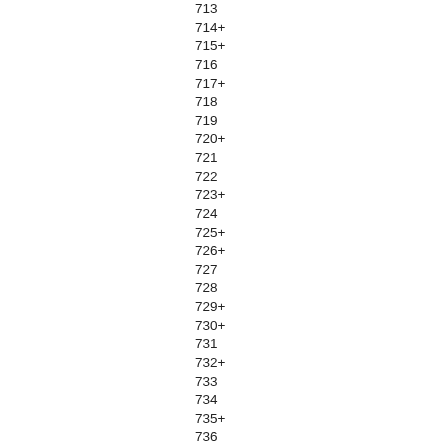713
714+
715+
716
717+
718
719
720+
721
722
723+
724
725+
726+
727
728
729+
730+
731
732+
733
734
735+
736
737
738+
739
740+
741+
742
743